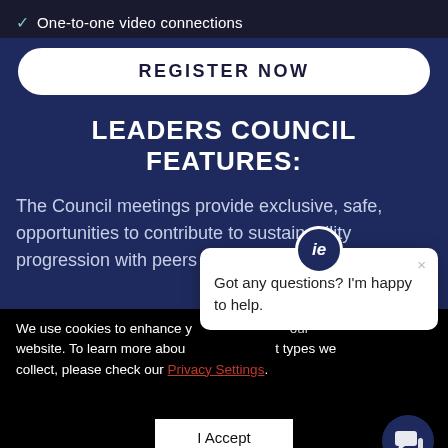One-to-one video connections
REGISTER NOW
LEADERS COUNCIL FEATURES:
The Council meetings provide exclusive, safe, opportunities to contribute to sustainability progression with peers and potential partners.
We use cookies to enhance your experience of our website. To learn more about the types of data we collect, please check our Privacy Settings.
I Accept
Got any questions? I'm happy to help.